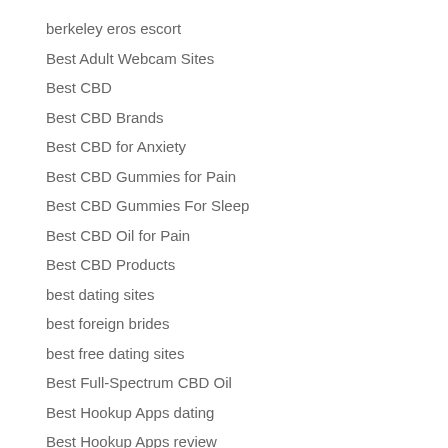berkeley eros escort
Best Adult Webcam Sites
Best CBD
Best CBD Brands
Best CBD for Anxiety
Best CBD Gummies for Pain
Best CBD Gummies For Sleep
Best CBD Oil for Pain
Best CBD Products
best dating sites
best foreign brides
best free dating sites
Best Full-Spectrum CBD Oil
Best Hookup Apps dating
Best Hookup Apps review